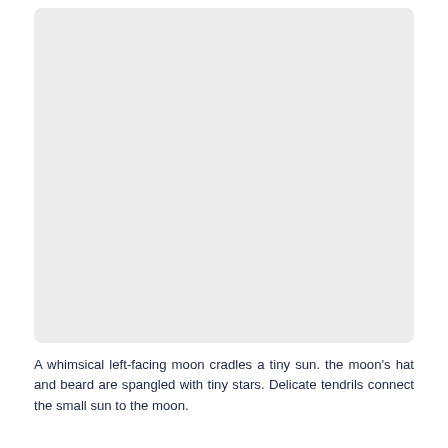[Figure (illustration): A large light gray rectangular area with rounded corners, representing a placeholder or blank illustration space.]
A whimsical left-facing moon cradles a tiny sun. the moon's hat and beard are spangled with tiny stars. Delicate tendrils connect the small sun to the moon.